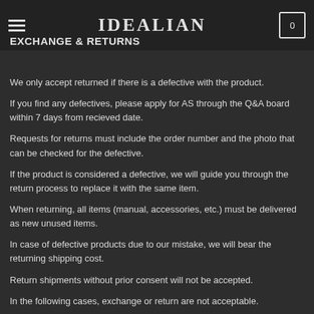IDEALIAN
EXCHANGE & RETURNS
We only accept returned if there is a defective with the product.
If you find any defectives, please apply for AS through the Q&A board within 7 days from recieved date.
Requests for returns must include the order number and the photo that can be checked for the defective.
If the product is considered a defective, we will guide you through the return process to replace it with the same item.
When returning, all items (manual, accessories, etc.) must be delivered as new unused items.
In case of defective products due to our mistake, we will bear the returning shipping cost.
Return shipments without prior consent will not be accepted.
In the following cases, exchange or return are not acceptable.
• If the seller does not admit that it is defective (see note)
• If the product has been used, or the value of the product has decreased due to